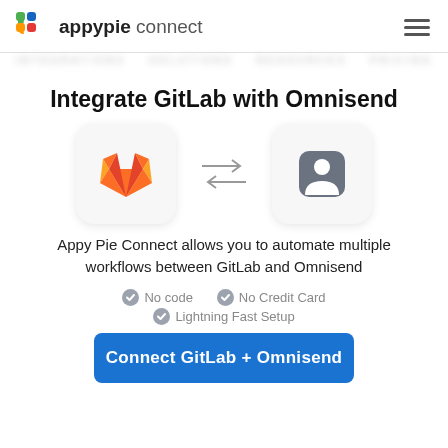[Figure (logo): Appy Pie Connect logo with colorful quadrant icon and text 'appypie connect']
Integrate GitLab with Omnisend
[Figure (illustration): GitLab fox logo icon on the left, bidirectional arrows in the middle, Omnisend person icon on the right]
Appy Pie Connect allows you to automate multiple workflows between GitLab and Omnisend
No code
No Credit Card
Lightning Fast Setup
Connect GitLab + Omnisend